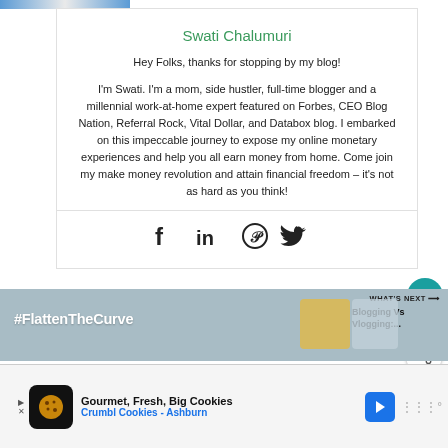[Figure (photo): Partial image strip at top of page]
Swati Chalumuri
Hey Folks, thanks for stopping by my blog!
I'm Swati. I'm a mom, side hustler, full-time blogger and a millennial work-at-home expert featured on Forbes, CEO Blog Nation, Referral Rock, Vital Dollar, and Databox blog. I embarked on this impeccable journey to expose my online monetary experiences and help you all earn money from home. Come join my make money revolution and attain financial freedom – it's not as hard as you think!
[Figure (infographic): Social media icons: Facebook, LinkedIn, Pinterest, Twitter]
[Figure (infographic): #FlattenTheCurve next banner with blogging vs vlogging preview]
[Figure (infographic): Advertisement banner: Gourmet, Fresh, Big Cookies - Crumbl Cookies - Ashburn]